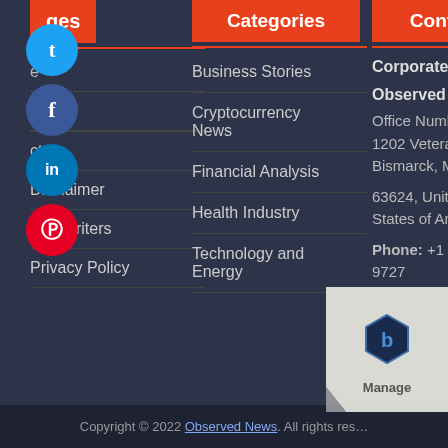[Figure (infographic): Social media icons (Twitter, Facebook, LinkedIn, Pinterest) as circular badges on left side]
Pages
Contact Us
Contact us
Disclaimer
Our Writers
Privacy Policy
Categories
Business Stories
Cryptocurrency News
Financial Analysis
Health Industry
Technology and Energy
Contact Us
Corporate Office
Observed News
Office Number 08, 1202 Veteran Dr S, Bismarck, MO
63624, United States of America
Phone: +1 701 223 9727
Copyright © 2022 Observed News. All rights reserved.
[Figure (logo): Manage (Matica/similar) logo with page curl effect bottom right]